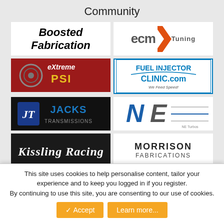Community
[Figure (logo): Boosted Fabrication logo - bold italic black text on white background]
[Figure (logo): ECM Tuning logo - ECM text with orange triple stripe graphic on white]
[Figure (logo): Extreme PSI logo - stylized text on red background with turbo graphic]
[Figure (logo): Fuel Injector Clinic.com - We Feed Speed! logo in blue on white]
[Figure (logo): Jacks Transmissions logo - JT symbol with blue text on dark background]
[Figure (logo): NE Turbos logo - stylized NE letters on white background]
[Figure (logo): Kissling Racing logo - cursive white text on black background]
[Figure (logo): Morrison Fabrications logo - uppercase text on white background]
[Figure (logo): Rix Racing logo - teal text with racing graphic on dark background]
[Figure (logo): RockAuto.com logo - RA emblem on blue/purple background]
[Figure (logo): RTM Racing logo - partially visible, maple leaf graphic on white]
[Figure (logo): Dark/black logo - partially cut off at bottom]
This site uses cookies to help personalise content, tailor your experience and to keep you logged in if you register.
By continuing to use this site, you are consenting to our use of cookies.